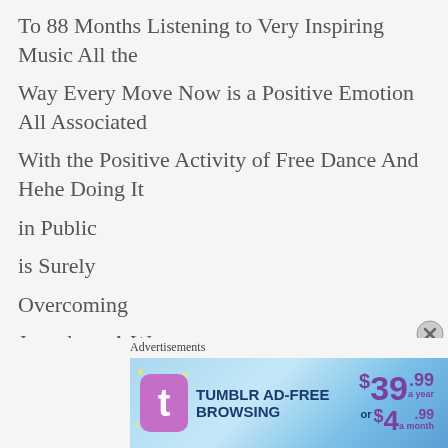To 88 Months Listening to Very Inspiring Music All the
Way Every Move Now is a Positive Emotion All Associated
With the Positive Activity of Free Dance And Hehe Doing It
in Public
is Surely
Overcoming
Just about A Worst
Fear that post Folks Might
Advertisements
[Figure (other): Tumblr AD-FREE BROWSING advertisement banner. $39.99 a year or $4.99 a month. Features Tumblr logo with stars.]